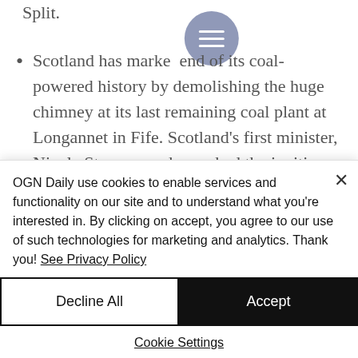Split.
Scotland has marked the end of its coal-powered history by demolishing the huge chimney at its last remaining coal plant at Longannet in Fife. Scotland's first minister, Nicola Sturgeon, who pushed the ignition button on the controlled implosion, described the demolition as "a symbolic
OGN Daily use cookies to enable services and functionality on our site and to understand what you're interested in. By clicking on accept, you agree to our use of such technologies for marketing and analytics. Thank you! See Privacy Policy
Decline All
Accept
Cookie Settings